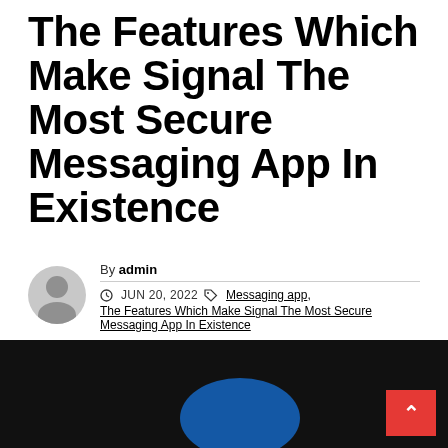The Features Which Make Signal The Most Secure Messaging App In Existence
By admin  JUN 20, 2022  Messaging app, The Features Which Make Signal The Most Secure Messaging App In Existence
[Figure (photo): Dark photo background with a blue circular element visible at bottom, partially cropped]